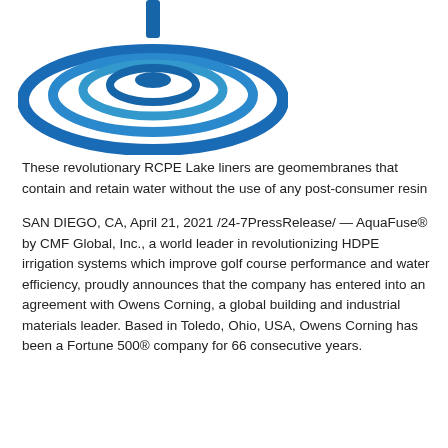[Figure (logo): AquaFuse / CMF Global logo: concentric oval ripple rings in blue with a vertical blue bar at top center]
These revolutionary RCPE Lake liners are geomembranes that contain and retain water without the use of any post-consumer resin
SAN DIEGO, CA, April 21, 2021 /24-7PressRelease/ — AquaFuse® by CMF Global, Inc., a world leader in revolutionizing HDPE irrigation systems which improve golf course performance and water efficiency, proudly announces that the company has entered into an agreement with Owens Corning, a global building and industrial materials leader. Based in Toledo, Ohio, USA, Owens Corning has been a Fortune 500® company for 66 consecutive years.